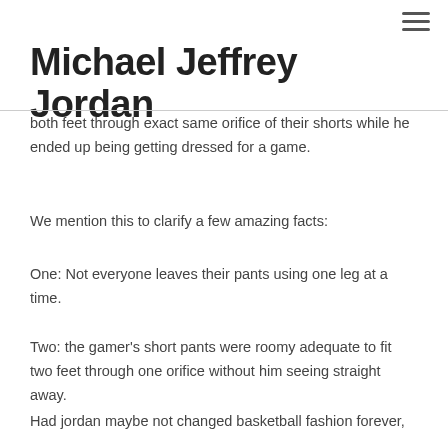Michael Jeffrey Jordan
both feet through exact same orifice of their shorts while he ended up being getting dressed for a game.
We mention this to clarify a few amazing facts:
One: Not everyone leaves their pants using one leg at a time.
Two: the gamer's short pants were roomy adequate to fit two feet through one orifice without him seeing straight away.
Had jordan maybe not changed basketball fashion forever,